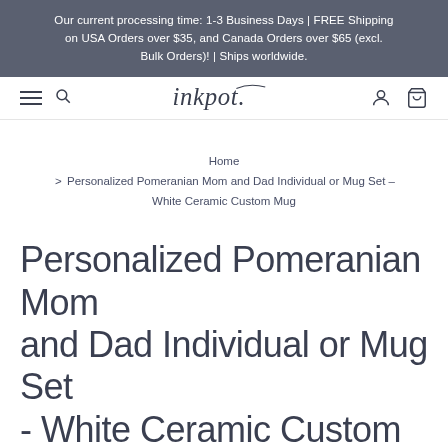Our current processing time: 1-3 Business Days | FREE Shipping on USA Orders over $35, and Canada Orders over $65 (excl. Bulk Orders)! | Ships worldwide.
[Figure (logo): Inkpot store logo in script font with navigation icons (hamburger menu, search, user account, cart)]
Home > Personalized Pomeranian Mom and Dad Individual or Mug Set - White Ceramic Custom Mug
Personalized Pomeranian Mom and Dad Individual or Mug Set - White Ceramic Custom Mug